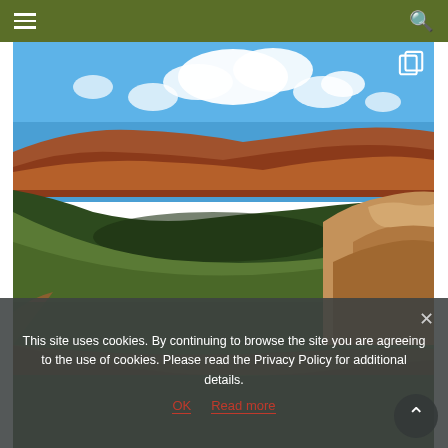Navigation bar with hamburger menu and search icon
[Figure (photo): Aerial view of a desert canyon landscape with red rock formations, green shrubland valley, blue sky with white clouds, and rocky foreground. Possibly Grand Canyon area.]
This site uses cookies. By continuing to browse the site you are agreeing to the use of cookies. Please read the Privacy Policy for additional details.
OK   Read more